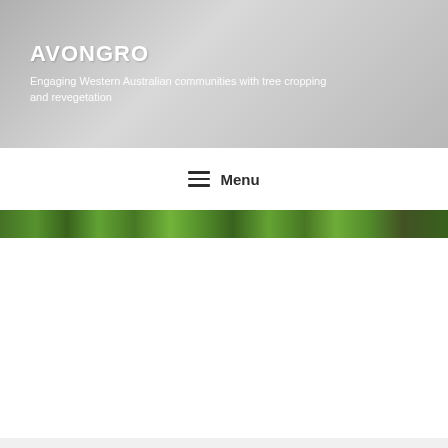AVONGRO
Engaging Western Australian communities with tree cropping and revegetation
≡ Menu
[Figure (photo): A narrow horizontal strip showing green foliage/leaves, serving as a hero image banner]